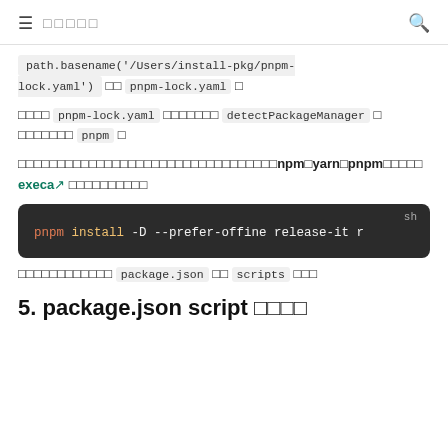≡ □□□□□
path.basename('/Users/install-pkg/pnpm-lock.yaml') □□ pnpm-lock.yaml □
□□□□ pnpm-lock.yaml □□□□□□□ detectPackageManager □ □□□□□□□ pnpm □
□□□□□□□□□□□□□□□□□□□□□□□□□□□□□□□□□npm□yarn□pnpm□□□□□ execa □□□□□□□□□□
[Figure (screenshot): Dark code block showing shell command: pnpm install -D --prefer-offline release-it r]
□□□□□□□□□□□□ package.json □□ scripts □□□
5. package.json script □□□□